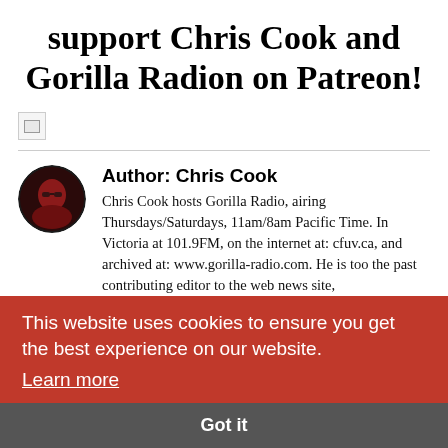support Chris Cook and Gorilla Radion on Patreon!
[Figure (photo): Broken image placeholder icon]
Author: Chris Cook
Chris Cook hosts Gorilla Radio, airing Thursdays/Saturdays, 11am/8am Pacific Time. In Victoria at 101.9FM, on the internet at: cfuv.ca, and archived at: www.gorilla-radio.com. He is too the past contributing editor to the web news site, www.pacificfreepress.com. (now defunct). Tweets @paciffreepress and the GR blog is at: gorillaradioblog.blogspot.com. G-Radio is dedicated to social justice, the environment, community, and providing a forum for people and issues not covered in the corporate media. Some past guests include: M. Shahid Alam, Joel Bakan, Maude Barlow, Ramzy
This website uses cookies to ensure you get the best experience on our website.
Learn more
Got it